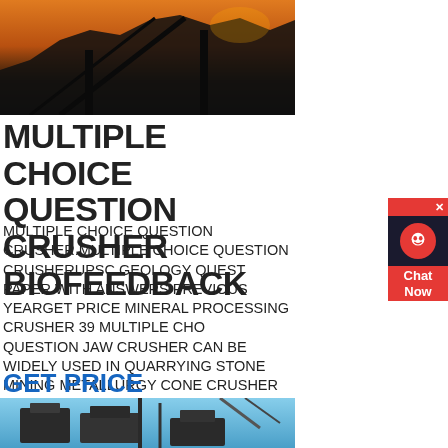[Figure (photo): Industrial mining equipment silhouette at sunset with orange and dark sky]
MULTIPLE CHOICE QUESTION CRUSHER BIOFEEDBACK
MULTIPLE CHOICE QUESTION CRUSHER.MULTIPLE CHOICE QUESTION CRUSHERUPSC GEOLOGY QUESTION PAPER WITH ANSWERS PREVIOUS YEARGET PRICE MINERAL PROCESSING CRUSHER 39 MULTIPLE CHOICE QUESTION JAW CRUSHER CAN BE WIDELY USED IN QUARRYING STONE MINING METALLURGY CONE CRUSHER CONE CRUSHER SUPPLIED BY SAM APPLY TO CRUSH IRON ORE LIMESTONE COPPER ORE GET PRICE.
GET PRICE
[Figure (photo): Industrial crushing/screening equipment against blue sky with crane structures]